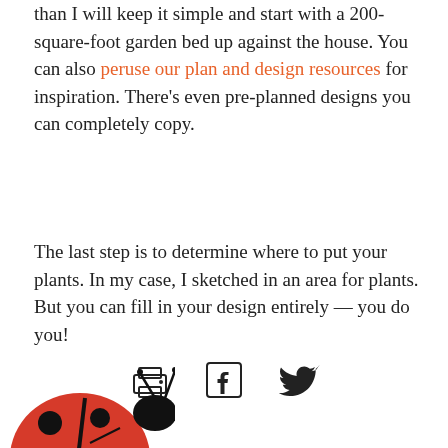than I will keep it simple and start with a 200-square-foot garden bed up against the house. You can also peruse our plan and design resources for inspiration. There's even pre-planned designs you can completely copy.
The last step is to determine where to put your plants. In my case, I sketched in an area for plants. But you can fill in your design entirely — you do you!
[Figure (infographic): Three social sharing icons: printer icon, Facebook icon, Twitter/bird icon]
[Figure (photo): Partial image of a ladybug in the bottom-left corner]